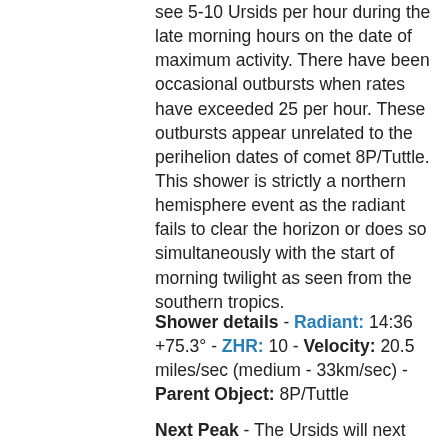see 5-10 Ursids per hour during the late morning hours on the date of maximum activity. There have been occasional outbursts when rates have exceeded 25 per hour. These outbursts appear unrelated to the perihelion dates of comet 8P/Tuttle. This shower is strictly a northern hemisphere event as the radiant fails to clear the horizon or does so simultaneously with the start of morning twilight as seen from the southern tropics.
Shower details - Radiant: 14:36 +75.3° - ZHR: 10 - Velocity: 20.5 miles/sec (medium - 33km/sec) - Parent Object: 8P/Tuttle
Next Peak - The Ursids will next